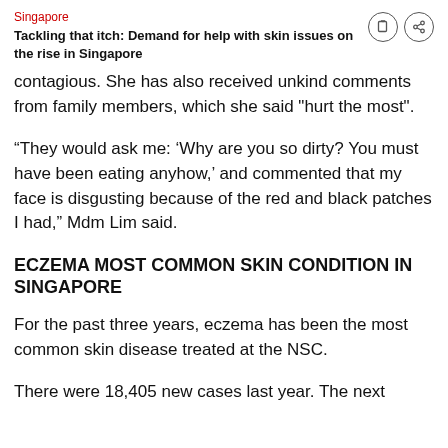Singapore
Tackling that itch: Demand for help with skin issues on the rise in Singapore
contagious. She has also received unkind comments from family members, which she said "hurt the most".
“They would ask me: ‘Why are you so dirty? You must have been eating anyhow,’ and commented that my face is disgusting because of the red and black patches I had,” Mdm Lim said.
ECZEMA MOST COMMON SKIN CONDITION IN SINGAPORE
For the past three years, eczema has been the most common skin disease treated at the NSC.
There were 18,405 new cases last year. The next